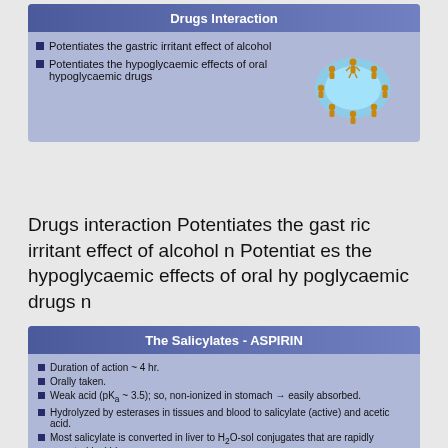Drugs Interaction
Potentiates the gastric irritant effect of alcohol
Potentiates the hypoglycaemic effects of oral hypoglycaemic drugs
[Figure (illustration): Circular arrangement of golden figures around a glowing blue sphere, representing drug interaction concept]
Drugs interaction Potentiates the gast ric irritant effect of alcohol n Potentiat es the hypoglycaemic effects of oral hy poglycaemic drugs n
The Salicylates - ASPIRIN
Duration of action ~ 4 hr.
Orally taken.
Weak acid (pKa ~ 3.5); so, non-ionized in stomach → easily absorbed.
Hydrolyzed by esterases in tissues and blood to salicylate (active) and acetic acid.
Most salicylate is converted in liver to H2O-sol conjugates that are rapidly excreted by kids.